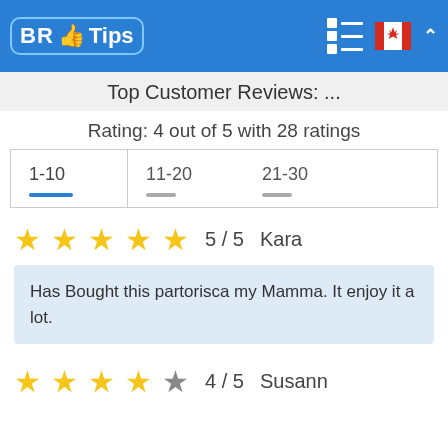BR Tips
Top Customer Reviews: ...
Rating: 4 out of 5 with 28 ratings
| 1-10 | 11-20 | 21-30 |
| --- | --- | --- |
5 / 5   Kara
Has Bought this partorisca my Mamma. It enjoy it a lot.
4 / 5   Susann